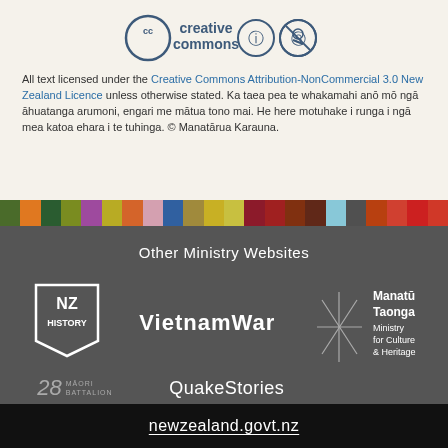[Figure (logo): Creative Commons logo with attribution and non-commercial icons]
All text licensed under the Creative Commons Attribution-NonCommercial 3.0 New Zealand Licence unless otherwise stated. Ka taea pea te whakamahi anō mō ngā āhuatanga arumoni, engari me mātua tono mai. He here motuhake i runga i ngā mea katoa ehara i te tuhinga. © Manatārua Karauna.
[Figure (infographic): Multicolored horizontal strip]
Other Ministry Websites
[Figure (logo): NZ History logo - square badge with NZ HISTORY text]
[Figure (logo): VietnamWar logo - bold white text]
[Figure (logo): Manatū Taonga Ministry for Culture & Heritage logo with asterisk/star mark]
[Figure (logo): 28 Māori Battalion logo]
[Figure (logo): QuakeStories logo]
newzealand.govt.nz